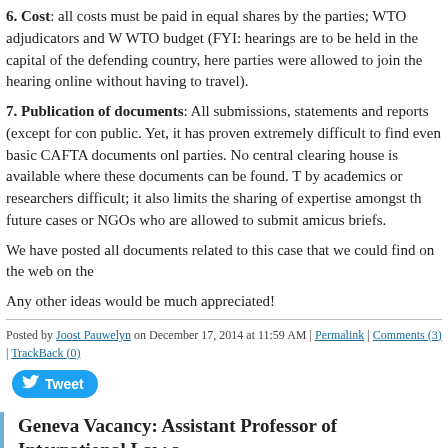6. Cost: all costs must be paid in equal shares by the parties; WTO adjudicators and W WTO budget (FYI: hearings are to be held in the capital of the defending country, here parties were allowed to join the hearing online without having to travel).
7. Publication of documents: All submissions, statements and reports (except for con public. Yet, it has proven extremely difficult to find even basic CAFTA documents onl parties. No central clearing house is available where these documents can be found. T by academics or researchers difficult; it also limits the sharing of expertise amongst th future cases or NGOs who are allowed to submit amicus briefs.
We have posted all documents related to this case that we could find on the web on the
Any other ideas would be much appreciated!
Posted by Joost Pauwelyn on December 17, 2014 at 11:59 AM | Permalink | Comments (3) | TrackBack (0)
Geneva Vacancy: Assistant Professor of International Law a
Looking for a young and dynamic colleague to join the Graduate Institute of Internatio Geneva.  International economic law is one of four possible fields of specialization.  C